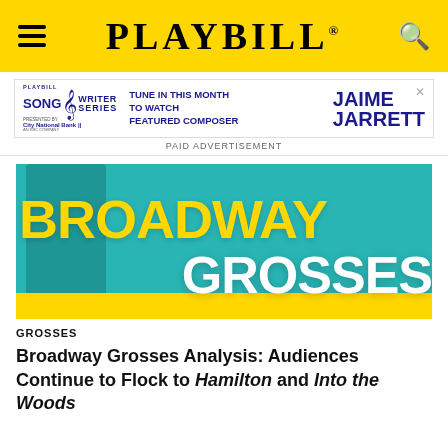PLAYBILL
[Figure (screenshot): Playbill Songwriter Series advertisement featuring City National Bank with text: TUNE IN THIS MONTH TO WATCH FEATURED COMPOSER JAIME JARRETT]
PAID ADVERTISEMENT
[Figure (photo): Broadway Grosses banner image with teal background, performer silhouette, large yellow text reading BROADWAY and white text reading GROSSES, yellow bar at bottom]
GROSSES
Broadway Grosses Analysis: Audiences Continue to Flock to Hamilton and Into the Woods